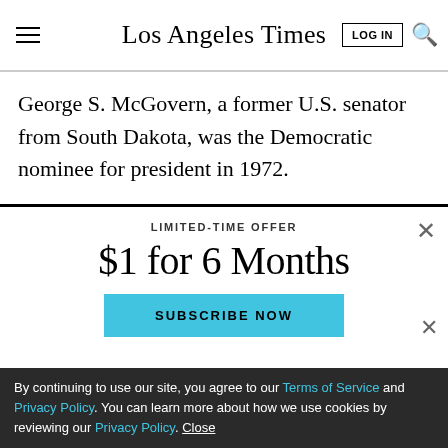Los Angeles Times
George S. McGovern, a former U.S. senator from South Dakota, was the Democratic nominee for president in 1972.
LIMITED-TIME OFFER
$1 for 6 Months
SUBSCRIBE NOW
By continuing to use our site, you agree to our Terms of Service and Privacy Policy. You can learn more about how we use cookies by reviewing our Privacy Policy. Close